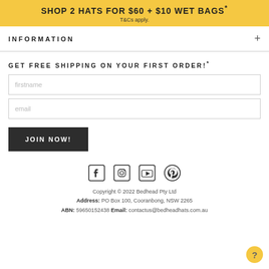SHOP 2 HATS FOR $60 + $10 WET BAGS*
T&Cs apply.
INFORMATION
GET FREE SHIPPING ON YOUR FIRST ORDER!*
firstname
email
JOIN NOW!
[Figure (other): Social media icons: Facebook, Instagram, YouTube, Pinterest]
Copyright © 2022 Bedhead Pty Ltd Address: PO Box 100, Cooranbong, NSW 2265 ABN: 59650152438 Email: contactus@bedheadhats.com.au